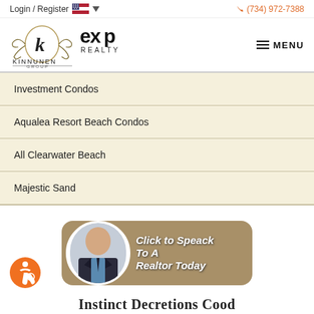Login / Register   (734) 972-7388
[Figure (logo): Kinnunen Group eXp Realty logo with MENU button]
Investment Condos
Aqualea Resort Beach Condos
All Clearwater Beach
Majestic Sand
[Figure (infographic): Click to Speack To A Realtor Today button with photo of a man in a suit]
Instinct Decretions Cood